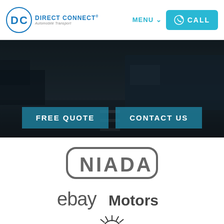[Figure (logo): DC Direct Connect Automobile Transport logo with blue DC letters in a circle badge and blue text]
MENU ∨   CALL
[Figure (photo): Dark hero banner showing a car transport truck on a highway at dusk with two overlay buttons: FREE QUOTE and CONTACT US]
[Figure (logo): NIADA logo in gray rounded rectangle badge]
[Figure (logo): eBay Motors logo in gray]
[Figure (logo): Partial sun/gear logo at bottom of page]